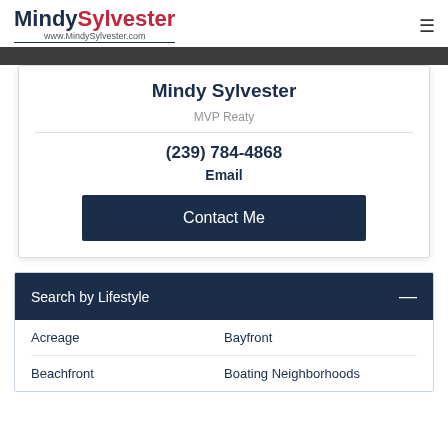MindySylvester www.MindySylvester.com
Mindy Sylvester
MVP Reaty
(239) 784-4868
Email
Contact Me
Search by Lifestyle
Acreage
Bayfront
Beachfront
Boating Neighborhoods